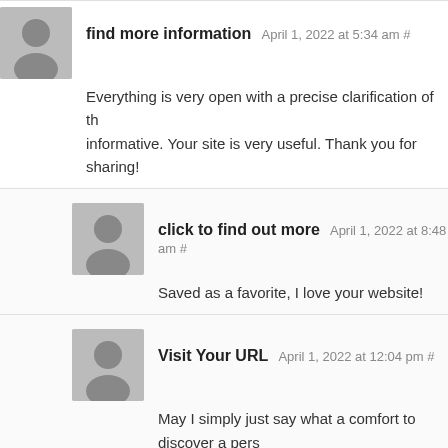find more information April 1, 2022 at 5:34 am #
Everything is very open with a precise clarification of the issues. It was truly informative. Your site is very useful. Thank you for sharing!
click to find out more April 1, 2022 at 8:48 am #
Saved as a favorite, I love your website!
Visit Your URL April 1, 2022 at 12:04 pm #
May I simply just say what a comfort to discover a person that truly understands what they are talking about on the web. You definitely know how to bring an issue to light and make it important. More and more people should read this and understand this side of the story. I was surprised you aren't more popular since you certainly have the gift.